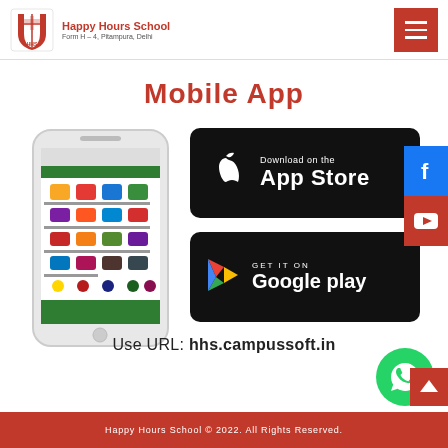Happy Hours School - Form H-4, Pitampura, Delhi
Mobile App
[Figure (screenshot): Mobile phone showing the Happy Hours School app interface with icons and green bottom bar]
[Figure (logo): Download on the App Store button (black background, Apple logo)]
[Figure (logo): GET IT ON Google play button (black background, Google Play logo)]
Use URL: hhs.campussoft.in
Happy Hours School © 2022. All Rights Reserved.